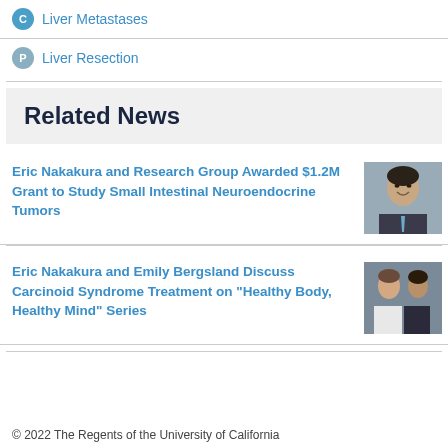Liver Metastases
Liver Resection
Related News
Eric Nakakura and Research Group Awarded $1.2M Grant to Study Small Intestinal Neuroendocrine Tumors
[Figure (photo): Headshot of Eric Nakakura, a man in a suit smiling]
Eric Nakakura and Emily Bergsland Discuss Carcinoid Syndrome Treatment on "Healthy Body, Healthy Mind" Series
[Figure (photo): Two medical professionals in discussion]
© 2022 The Regents of the University of California